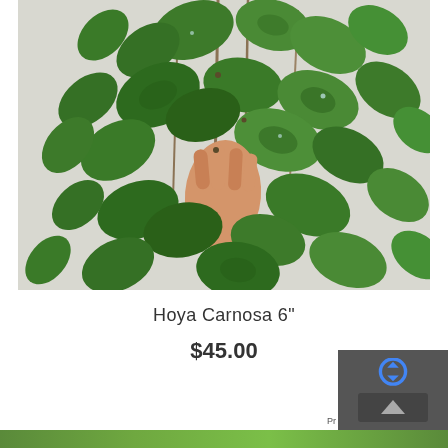[Figure (photo): A person holding up a Hoya Carnosa plant with many green oval leaves on trailing vines, against a light grey background.]
Hoya Carnosa 6"
$45.00
[Figure (screenshot): Partial view of reCAPTCHA widget overlay in bottom right corner, showing blue reCAPTCHA icon and a dark back/scroll-to-top button. Partially visible 'Pr' text (Privacy) at bottom.]